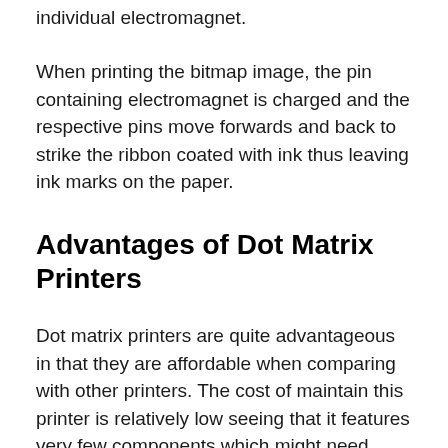each pin connected through a spring to an individual electromagnet.
When printing the bitmap image, the pin containing electromagnet is charged and the respective pins move forwards and back to strike the ribbon coated with ink thus leaving ink marks on the paper.
Advantages of Dot Matrix Printers
Dot matrix printers are quite advantageous in that they are affordable when comparing with other printers. The cost of maintain this printer is relatively low seeing that it features very few components which might need replacement. The